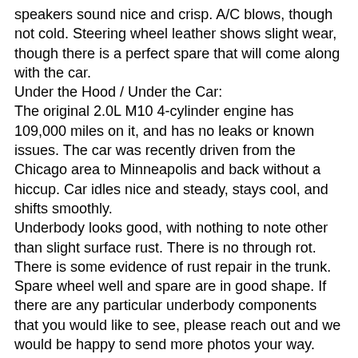speakers sound nice and crisp. A/C blows, though not cold. Steering wheel leather shows slight wear, though there is a perfect spare that will come along with the car.
Under the Hood / Under the Car:
The original 2.0L M10 4-cylinder engine has 109,000 miles on it, and has no leaks or known issues. The car was recently driven from the Chicago area to Minneapolis and back without a hiccup. Car idles nice and steady, stays cool, and shifts smoothly.
Underbody looks good, with nothing to note other than slight surface rust. There is no through rot. There is some evidence of rust repair in the trunk. Spare wheel well and spare are in good shape. If there are any particular underbody components that you would like to see, please reach out and we would be happy to send more photos your way.
The Final Assessment:
With its small size, automatic transmission, reliable 123hp 4-cylinder motor, and driver-level cosmetics, this Bimmer is an excellent commuter. If you are in the market for a reliable daily driver that is both unique and stylish, I cannot think of a better car. We have been using the car as our lunch-getter at the office and it's unanimous, everybody loves this little car! If